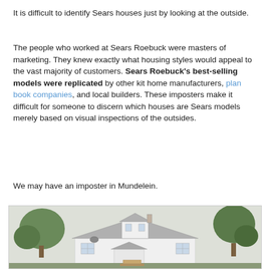It is difficult to identify Sears houses just by looking at the outside.
The people who worked at Sears Roebuck were masters of marketing. They knew exactly what housing styles would appeal to the vast majority of customers. Sears Roebuck's best-selling models were replicated by other kit home manufacturers, plan book companies, and local builders. These imposters make it difficult for someone to discern which houses are Sears models merely based on visual inspections of the outsides.
We may have an imposter in Mundelein.
[Figure (photo): Photograph of a white house with a hipped roof and dormers, surrounded by trees — a potential Sears house imposter in Mundelein.]